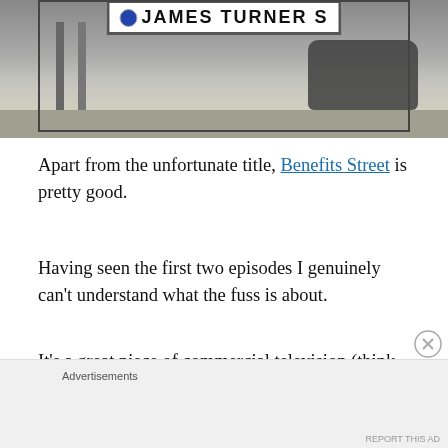[Figure (photo): Street sign reading 'JAMES TURNER S[T]' partially visible at top, mounted on metal posts, with a blurred street scene behind including a dark car parked on the right side of the road and residential buildings]
Apart from the unfortunate title, Benefits Street is pretty good.
Having seen the first two episodes I genuinely can't understand what the fuss is about.
It's a great piece of commercial television (think – My
Advertisements
REPORT THIS AD